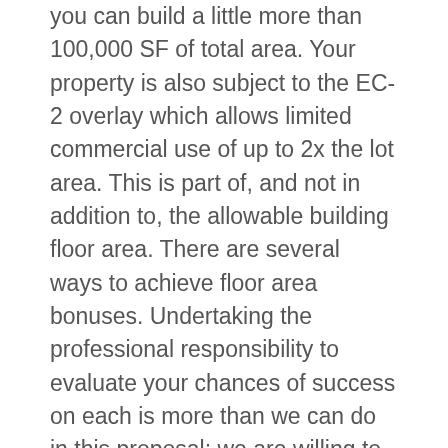you can build a little more than 100,000 SF of total area. Your property is also subject to the EC-2 overlay which allows limited commercial use of up to 2x the lot area. This is part of, and not in addition to, the allowable building floor area. There are several ways to achieve floor area bonuses. Undertaking the professional responsibility to evaluate your chances of success on each is more than we can do in this proposal; we are willing to prepare a memo with the alternatives and likely costs and chances of success, in a form that your board can read and discuss, for a fixed fee of $___. Based on our